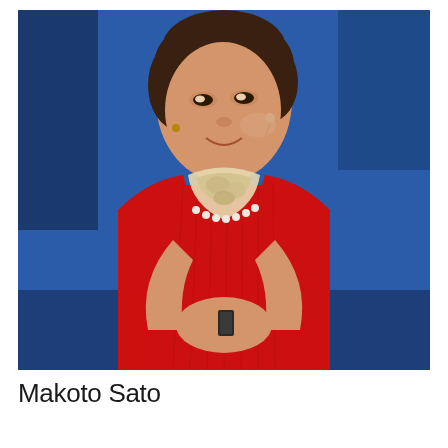[Figure (photo): A woman in a red ribbed sweater with a floral scarf and pearl necklace, wearing a beige ear-mounted microphone, holding a small device in her hands and smiling upward. She is on a stage with a blue backdrop, appearing to be giving a presentation.]
Makoto Sato